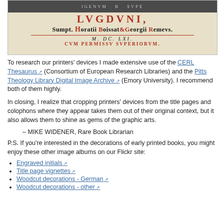[Figure (photo): Scanned title page of an old book showing: top dark banner with worn text, then 'LVGDVNI,' in red, 'Sumpt. Horatii Boissat & Georgii Remevs.' in black and red, a red decorative line, italic date 'M. DC. LXI.' and 'CVM PERMISSV SVPERIORVM.' in red]
To research our printers' devices I made extensive use of the CERL Thesaurus (Consortium of European Research Libraries) and the Pitts Theology Library Digital Image Archive (Emory University). I recommend both of them highly.
In closing, I realize that cropping printers' devices from the title pages and colophons where they appear takes them out of their original context, but it also allows them to shine as gems of the graphic arts.
– MIKE WIDENER, Rare Book Librarian
P.S. If you're interested in the decorations of early printed books, you might enjoy these other image albums on our Flickr site:
Engraved initials
Title page vignettes
Woodcut decorations - German
Woodcut decorations - other